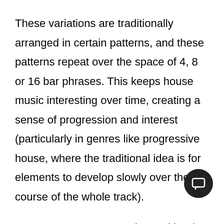These variations are traditionally arranged in certain patterns, and these patterns repeat over the space of 4, 8 or 16 bar phrases. This keeps house music interesting over time, creating a sense of progression and interest (particularly in genres like progressive house, where the traditional idea is for elements to develop slowly over the course of the whole track).
Note: You can program these either in MIDI with a drum sampler or by dragging the audio directly into the arrangement like I am here.